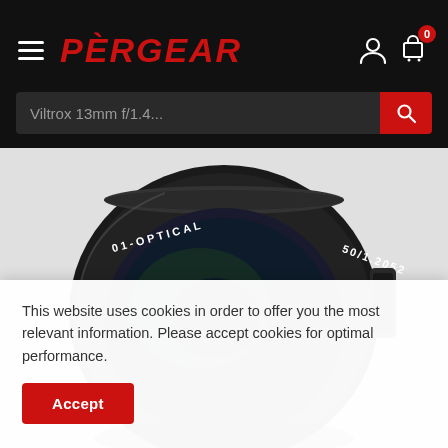[Figure (logo): PERGEAR logo in red italic bold text on black background with hamburger menu icon]
[Figure (screenshot): Search bar with placeholder text 'Viltrox 13mm f/1.4...' on dark background with red search button]
[Figure (photo): Close-up photo of a camera lens labeled '01-OPTICAL 50/1.2052' on light gray background]
This website uses cookies in order to offer you the most relevant information. Please accept cookies for optimal performance.
Accept